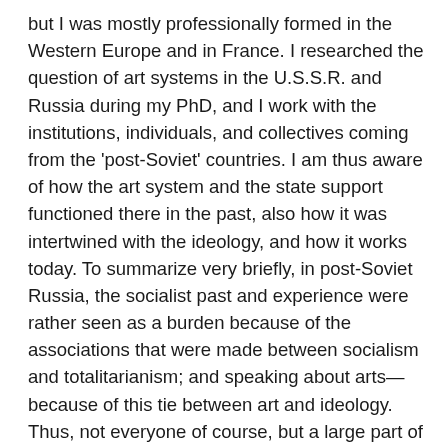but I was mostly professionally formed in the Western Europe and in France. I researched the question of art systems in the U.S.S.R. and Russia during my PhD, and I work with the institutions, individuals, and collectives coming from the 'post-Soviet' countries. I am thus aware of how the art system and the state support functioned there in the past, also how it was intertwined with the ideology, and how it works today. To summarize very briefly, in post-Soviet Russia, the socialist past and experience were rather seen as a burden because of the associations that were made between socialism and totalitarianism; and speaking about arts—because of this tie between art and ideology. Thus, not everyone of course, but a large part of Russian society after the dissolution of the U.S.S.R. was tending to obliviate the socialist experience, often praising liberty and flexibility in terms of economy, labor laws, arts, etc. This knowledge and cultural awareness of the Soviet experience, of its Russian and libertarian and of the French historical...